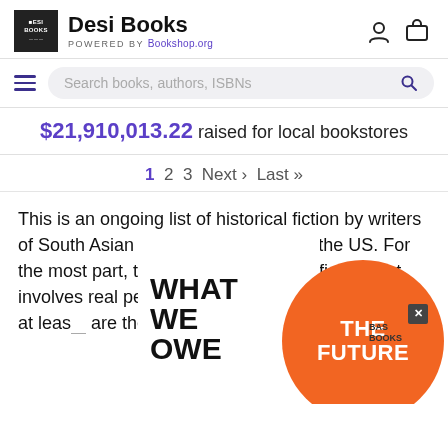Desi Books POWERED BY Bookshop.org
$21,910,013.22 raised for local bookstores
1 2 3 Next › Last »
This is an ongoing list of historical fiction by writers of South Asian origin and available in the US. For the most part, this is literary historical fiction that involves real people or real events from more than at least [---] are the rich, di[---]asia, which [---]s
[Figure (other): Promotional overlay ads: 'WHAT WE OWE' book ad text block in black on white, orange circle with 'THE FUTURE' text, and a close button with 'BAS BOOKS' label]